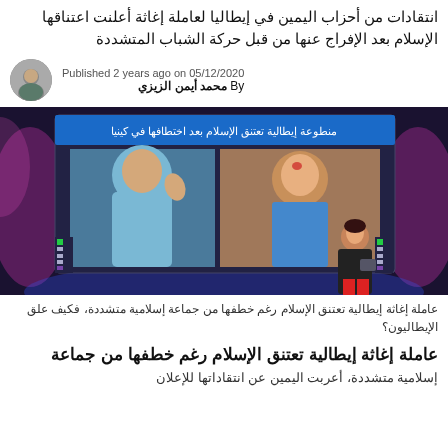انتقادات من أحزاب اليمين في إيطاليا لعاملة إغاثة أعلنت اعتناقها الإسلام بعد الإفراج عنها من قبل حركة الشباب المتشددة
Published 2 years ago on 05/12/2020 By محمد أيمن الزيزي
[Figure (photo): TV broadcast screenshot showing two photos of an Italian woman — one wearing a hijab and waving, one without — with Arabic caption text on a news studio screen, and a female presenter standing in front of it]
عاملة إغاثة إيطالية تعتنق الإسلام رغم خطفها من جماعة إسلامية متشددة، فكيف علق الإيطاليون؟
عاملة إغاثة إيطالية تعتنق الإسلام رغم خطفها من جماعة
إسلامية متشددة، أعربت اليمين عن انتقاداتها للإعلان